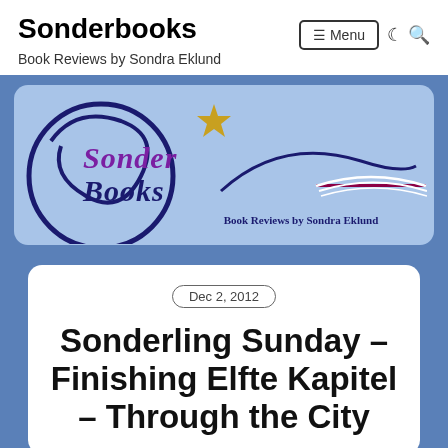Sonderbooks
Book Reviews by Sondra Eklund
[Figure (logo): Sonderbooks logo on light blue background with decorative swirl, open book illustration, and text 'Sonder Books — Book Reviews by Sondra Eklund']
Dec 2, 2012
Sonderling Sunday – Finishing Elfte Kapitel – Through the City